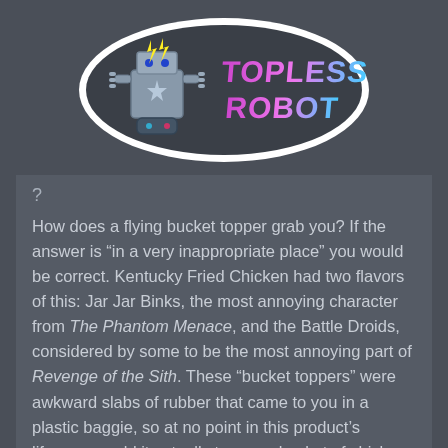[Figure (logo): Topless Robot logo — a cartoon robot mascot with lightning bolts, holding a game controller, beside stylized neon text reading 'TOPLESS ROBOT' in pink/cyan retro lettering, on a white outlined sticker-style badge]
?
How does a flying bucket topper grab you? If the answer is “in a very inappropriate place” you would be correct. Kentucky Fried Chicken had two flavors of this: Jar Jar Binks, the most annoying character from The Phantom Menace, and the Battle Droids, considered by some to be the most annoying part of Revenge of the Sith. These “bucket toppers” were awkward slabs of rubber that came to you in a plastic baggie, so at no point in this product’s lifespan would it actually top your bucket of chicken. Heck, even if it did, odds are freshly